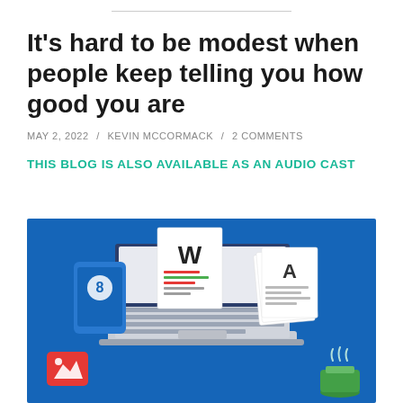It’s hard to be modest when people keep telling you how good you are
MAY 2, 2022 / KEVIN MCCORMACK / 2 COMMENTS
THIS BLOG IS ALSO AVAILABLE AS AN AUDIO CAST
[Figure (illustration): Isometric illustration of a laptop with documents showing W and A letters, a phone with a person icon, a red image icon, and a green coffee cup on a blue background]